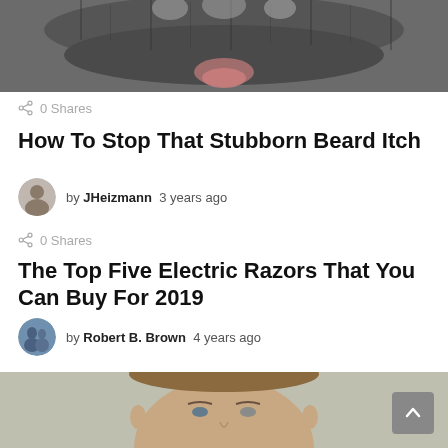[Figure (photo): Close-up photo of a beard, gray and dark fur-like texture with a pink area visible]
0 Shares
How To Stop That Stubborn Beard Itch
by JHeizmann  3 years ago
0 Shares
The Top Five Electric Razors That You Can Buy For 2019
by Robert B. Brown  4 years ago
[Figure (photo): Portrait photo of a young man with blue eyes and short brown hair against a blurred light background]